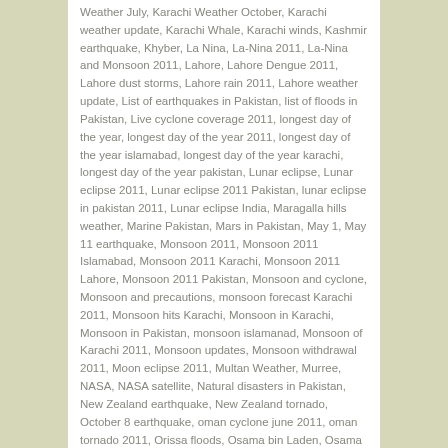Weather July, Karachi Weather October, Karachi weather update, Karachi Whale, Karachi winds, Kashmir earthquake, Khyber, La Nina, La-Nina 2011, La-Nina and Monsoon 2011, Lahore, Lahore Dengue 2011, Lahore dust storms, Lahore rain 2011, Lahore weather update, List of earthquakes in Pakistan, list of floods in Pakistan, Live cyclone coverage 2011, longest day of the year, longest day of the year 2011, longest day of the year islamabad, longest day of the year karachi, longest day of the year pakistan, Lunar eclipse, Lunar eclipse 2011, Lunar eclipse 2011 Pakistan, lunar eclipse in pakistan 2011, Lunar eclipse India, Maragalla hills weather, Marine Pakistan, Mars in Pakistan, May 1, May 11 earthquake, Monsoon 2011, Monsoon 2011 Islamabad, Monsoon 2011 Karachi, Monsoon 2011 Lahore, Monsoon 2011 Pakistan, Monsoon and cyclone, Monsoon and precautions, monsoon forecast Karachi 2011, Monsoon hits Karachi, Monsoon in Karachi, Monsoon in Pakistan, monsoon islamanad, Monsoon of Karachi 2011, Monsoon updates, Monsoon withdrawal 2011, Moon eclipse 2011, Multan Weather, Murree, NASA, NASA satellite, Natural disasters in Pakistan, New Zealand earthquake, New Zealand tornado, October 8 earthquake, oman cyclone june 2011, oman tornado 2011, Orissa floods, Osama bin Laden, Osama bin laden weather, Osama weather, Pak-Indo relations, Pak-Indo war 1971, Pakistan, Pakistan 2011 floods, pakistan cyclone 2011, Pakistan Dengue 2011, Pakistan Earthquake,